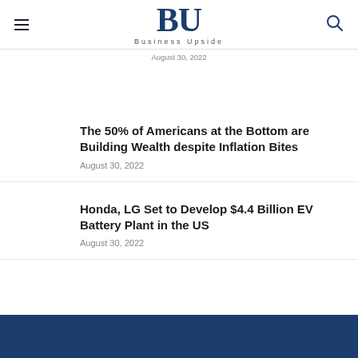BU — Business Upside
August 30, 2022
The 50% of Americans at the Bottom are Building Wealth despite Inflation Bites
August 30, 2022
Honda, LG Set to Develop $4.4 Billion EV Battery Plant in the US
August 30, 2022